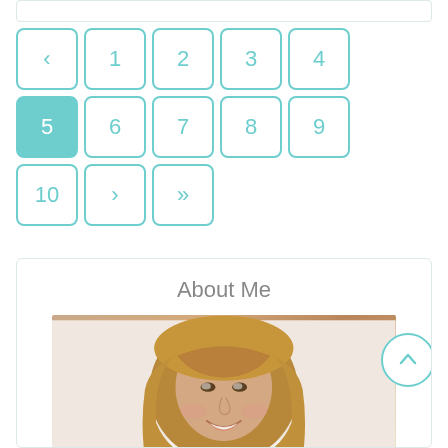[Figure (screenshot): Top white bar with teal border]
[Figure (infographic): Pagination widget with teal-bordered square buttons arranged in a 5x3 grid. Page 5 is active (teal fill). Buttons: <, 1, 2, 3, 4 in row 1; 5(active), 6, 7, 8, 9 in row 2; 10, >, >> in row 3.]
About Me
[Figure (photo): Photo of a smiling woman with long blonde/brown hair with bangs, wearing a light-colored top, against a white background.]